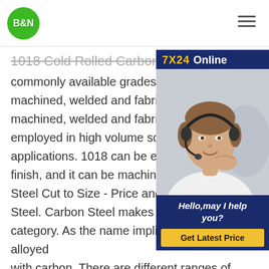B&N
1018 Cold Rolled Carbon Steel - One of the most commonly available grades. It is easily machined, welded and fabricated. It is machined, welded and fabricated. It is employed in high volume screw machine applications. 1018 can be easily brought to a finish, and it can be machined in all co… Steel Cut to Size - Price and Order On… Steel. Carbon Steel makes up our other main category. As the name implies, it is mostly alloyed with carbon. There are different ranges of carbon steel, from Low Carbon (Mild Steel), to Ultra-High Carbon. Most of our inventory is Mild Steel or
[Figure (other): 7X24 Online chat widget with photo of customer service representative wearing headset. Text reads: Hello, may I help you? Get Latest Price button.]